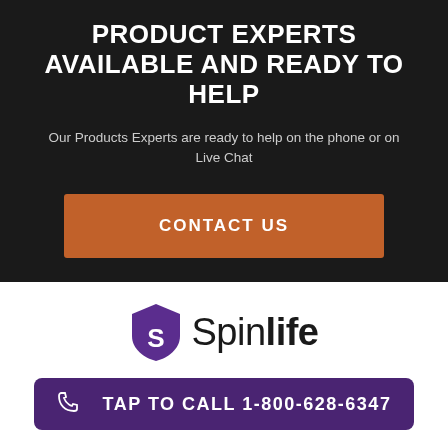PRODUCT EXPERTS AVAILABLE AND READY TO HELP
Our Products Experts are ready to help on the phone or on Live Chat
CONTACT US
[Figure (logo): Spinlife logo with purple shield icon and wordmark 'Spinlife' in black sans-serif text]
TAP TO CALL 1-800-628-6347